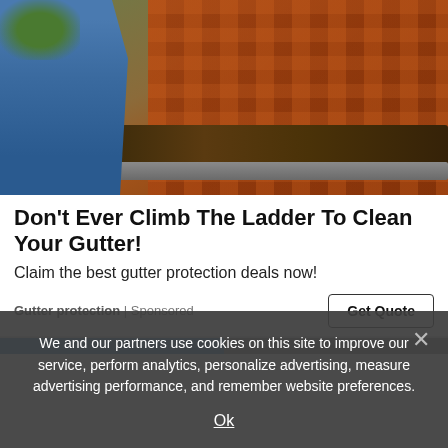[Figure (photo): A person in blue overalls cleaning debris from a roof gutter while standing on a ladder. The roof has terracotta tiles covered with leaves and debris.]
Don't Ever Climb The Ladder To Clean Your Gutter!
Claim the best gutter protection deals now!
Gutter protection | Sponsored
Get Quote
We and our partners use cookies on this site to improve our service, perform analytics, personalize advertising, measure advertising performance, and remember website preferences.
Ok